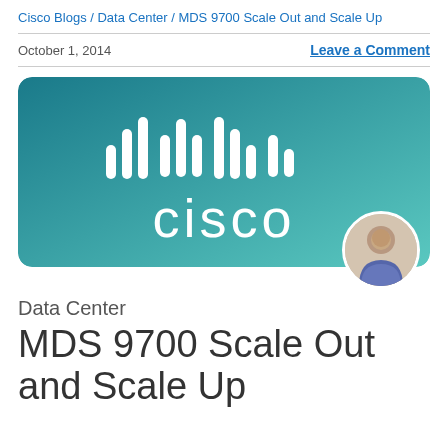Cisco Blogs / Data Center / MDS 9700 Scale Out and Scale Up
October 1, 2014
Leave a Comment
[Figure (logo): Cisco logo on teal/green gradient background card with rounded corners, with a circular avatar photo of a person in the bottom right corner]
Data Center
MDS 9700 Scale Out and Scale Up